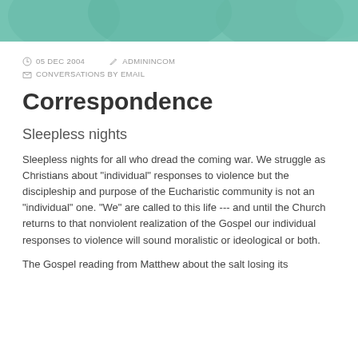[Figure (photo): Teal/green decorative header image with abstract organic shapes]
05 DEC 2004  ADMININCOM  CONVERSATIONS BY EMAIL
Correspondence
Sleepless nights
Sleepless nights for all who dread the coming war. We struggle as Christians about "individual" responses to violence but the discipleship and purpose of the Eucharistic community is not an "individual" one. "We" are called to this life --- and until the Church returns to that nonviolent realization of the Gospel our individual responses to violence will sound moralistic or ideological or both.
The Gospel reading from Matthew about the salt losing its